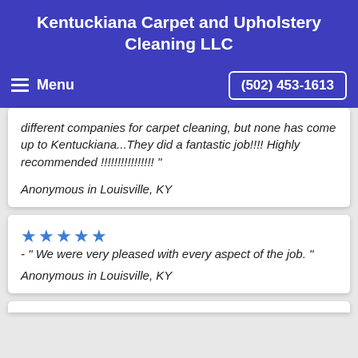Kentuckiana Carpet and Upholstery Cleaning LLC
Menu   (502) 453-1613
different companies for carpet cleaning, but none has come up to Kentuckiana...They did a fantastic job!!!! Highly recommended !!!!!!!!!!!!!!!! "

Anonymous in Louisville, KY
★★★★★ - " We were very pleased with every aspect of the job. "

Anonymous in Louisville, KY